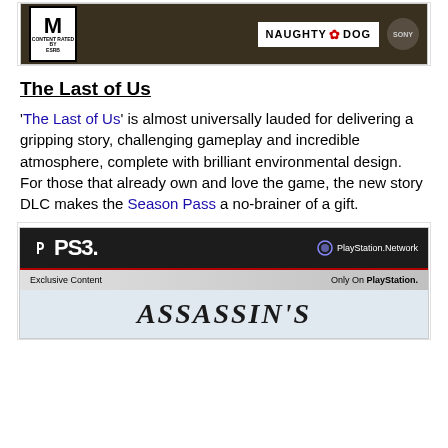[Figure (screenshot): The Last of Us game box art showing ESRB Mature rating, Naughty Dog logo, and Sony branding on a dark forest background]
The Last of Us
'The Last of Us' is almost universally lauded for delivering a gripping story, challenging gameplay and incredible atmosphere, complete with brilliant environmental design. For those that already own and love the game, the new story DLC makes the Season Pass a no-brainer of a gift.
[Figure (screenshot): PS3 game box art showing PlayStation Network branding, Exclusive Content / Only On PlayStation bar, and Assassin's Creed title text]